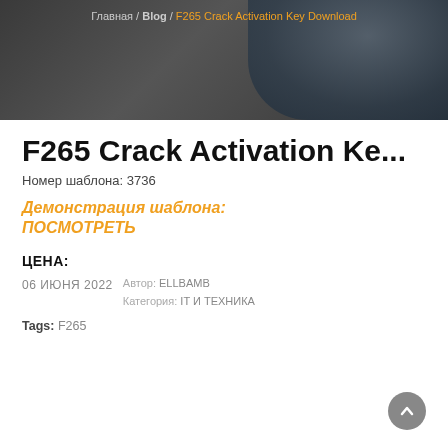Главная / Blog / F265 Crack Activation Key Download
[Figure (photo): Dark banner image with a figure/silhouette in the background, used as a blog post header]
F265 Crack Activation Ke...
Номер шаблона: 3736
Демонстрация шаблона:
ПОСМОТРЕТЬ
ЦЕНА:
06 ИЮНЯ 2022
Автор: ELLBAMB
Категория: IT И ТЕХНИКА
Tags: F265